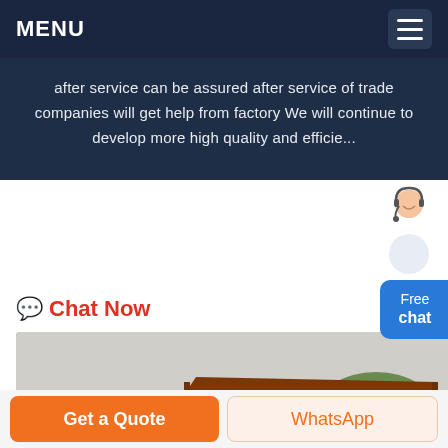MENU
after service can be assured after service of trade companies will get help from factory We will continue to develop more high quality and efficie...
Chat Now
[Figure (photo): Industrial mining crusher machinery photographed outdoors, rusty orange metal equipment with conveyor belt and large wheels on rocky terrain with vegetation in background.]
Get a Quote
WhatsApp